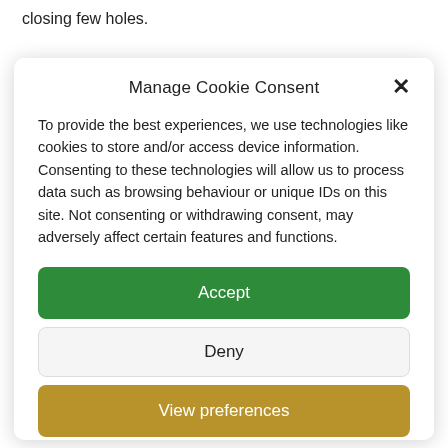closing few holes.
Manage Cookie Consent
To provide the best experiences, we use technologies like cookies to store and/or access device information. Consenting to these technologies will allow us to process data such as browsing behaviour or unique IDs on this site. Not consenting or withdrawing consent, may adversely affect certain features and functions.
Accept
Deny
View preferences
Privacy Statement